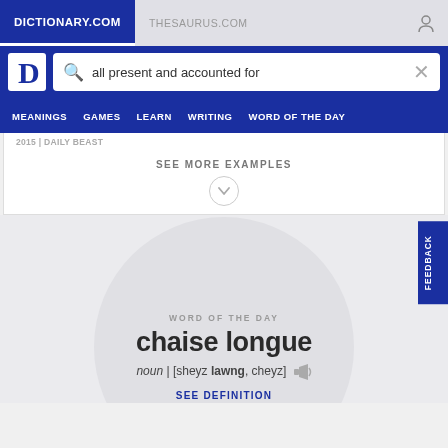DICTIONARY.COM | THESAURUS.COM
all present and accounted for
MEANINGS  GAMES  LEARN  WRITING  WORD OF THE DAY
2015 | DAILY BEAST
SEE MORE EXAMPLES
WORD OF THE DAY
chaise longue
noun | [sheyz lawng, cheyz]
SEE DEFINITION
FEEDBACK